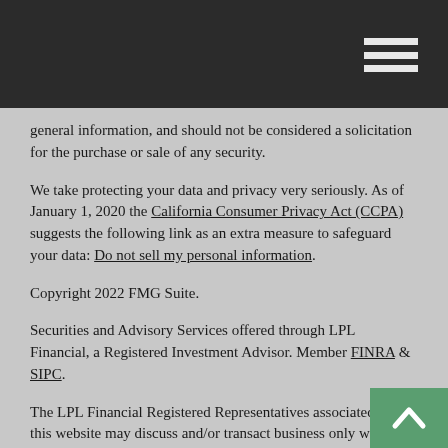general information, and should not be considered a solicitation for the purchase or sale of any security.
We take protecting your data and privacy very seriously. As of January 1, 2020 the California Consumer Privacy Act (CCPA) suggests the following link as an extra measure to safeguard your data: Do not sell my personal information.
Copyright 2022 FMG Suite.
Securities and Advisory Services offered through LPL Financial, a Registered Investment Advisor. Member FINRA & SIPC.
The LPL Financial Registered Representatives associated with this website may discuss and/or transact business only with residents of the states in which they are properly registered or licensed. No offers may be made or accepted from any resident of any other state.